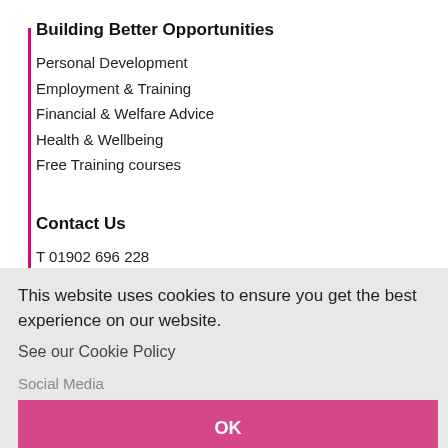Building Better Opportunities
Personal Development
Employment & Training
Financial & Welfare Advice
Health & Wellbeing
Free Training courses
Contact Us
T  01902 696 228
E. bbostaffs@gmail.com
This website uses cookies to ensure you get the best experience on our website.
See our Cookie Policy
Social Media
OK